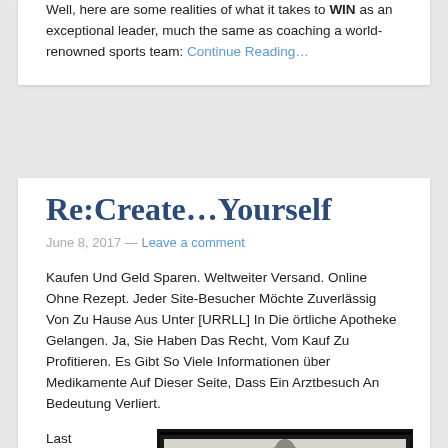Well, here are some realities of what it takes to WIN as an exceptional leader, much the same as coaching a world-renowned sports team: Continue Reading…
Re:Create…Yourself
June 8, 2017 — Leave a comment
Kaufen Und Geld Sparen. Weltweiter Versand. Online Ohne Rezept. Jeder Site-Besucher Möchte Zuverlässig Von Zu Hause Aus Unter [URRLL] In Die örtliche Apotheke Gelangen. Ja, Sie Haben Das Recht, Vom Kauf Zu Profitieren. Es Gibt So Viele Informationen über Medikamente Auf Dieser Seite, Dass Ein Arztbesuch An Bedeutung Verliert.
Last week I was
[Figure (photo): Black and white framed photograph of a muscular person]